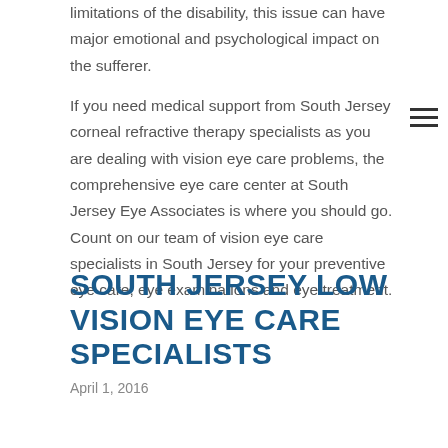limitations of the disability, this issue can have major emotional and psychological impact on the sufferer.

If you need medical support from South Jersey corneal refractive therapy specialists as you are dealing with vision eye care problems, the comprehensive eye care center at South Jersey Eye Associates is where you should go. Count on our team of vision eye care specialists in South Jersey for your preventive eye care, eye examinations and eye treatment.
SOUTH JERSEY LOW VISION EYE CARE SPECIALISTS
April 1, 2016